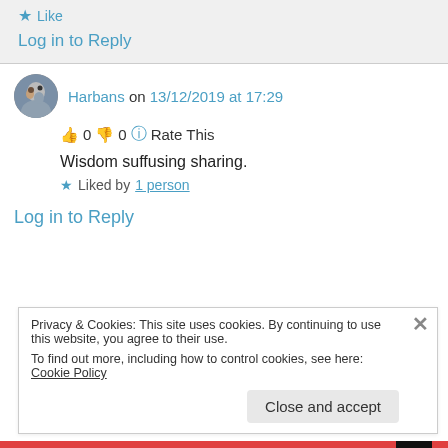★ Like
Log in to Reply
Harbans on 13/12/2019 at 17:29
👍 0 👎 0 ℹ Rate This
Wisdom suffusing sharing.
★ Liked by 1 person
Log in to Reply
Privacy & Cookies: This site uses cookies. By continuing to use this website, you agree to their use.
To find out more, including how to control cookies, see here: Cookie Policy
Close and accept